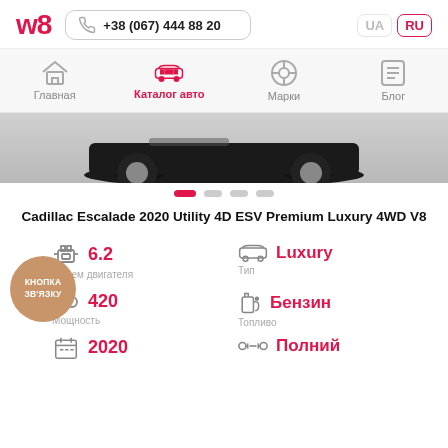w8 | +38 (067) 444 88 20 | UA | RU
Главная
Каталог авто
Марки
Блог
[Figure (photo): Bottom portion of a dark/black car visible against grey background]
Cadillac Escalade 2020 Utility 4D ESV Premium Luxury 4WD V8
6.2 | Объем двигателя
Luxury | Тип
420 | Мощность
Бензин | Топливо
2020 | (year)
Полний